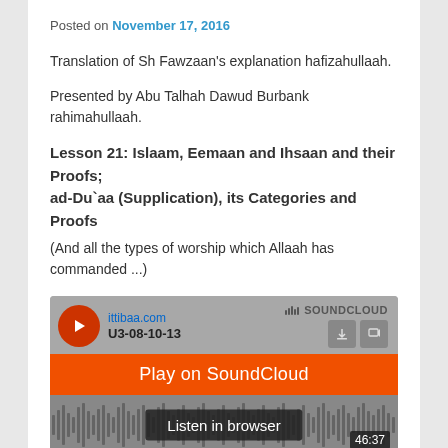Posted on November 17, 2016
Translation of Sh Fawzaan's explanation hafizahullaah.
Presented by Abu Talhah Dawud Burbank rahimahullaah.
Lesson 21: Islaam, Eemaan and Ihsaan and their Proofs; ad-Du`aa (Supplication), its Categories and Proofs
(And all the types of worship which Allaah has commanded ...)
[Figure (screenshot): SoundCloud embedded audio player widget showing ittibaa.com track U3-08-10-13, with Play on SoundCloud button, Listen in browser button, waveform display, duration 46:37, and 103 plays count.]
Alternative player: